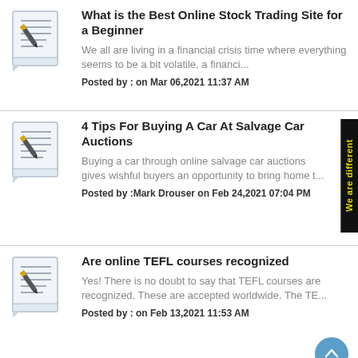[Figure (illustration): Notepad with pen icon]
What is the Best Online Stock Trading Site for a Beginner
We all are living in a financial crisis time where everything seems to be a bit volatile, a financi...
Posted by : on Mar 06,2021 11:37 AM
[Figure (illustration): Notepad with pen icon]
4 Tips For Buying A Car At Salvage Car Auctions
Buying a car through online salvage car auctions gives wishful buyers an opportunity to bring home t...
Posted by :Mark Drouser on Feb 24,2021 07:04 PM
[Figure (illustration): Notepad with pen icon]
Are online TEFL courses recognized
Yes! There is no doubt to say that TEFL courses are recognized. These are accepted worldwide. The TE...
Posted by : on Feb 13,2021 11:53 AM